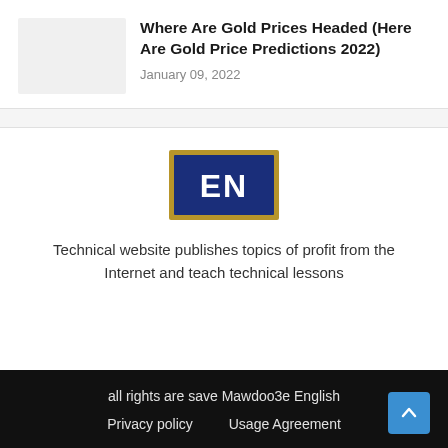[Figure (photo): Thumbnail image placeholder for article]
Where Are Gold Prices Headed (Here Are Gold Price Predictions 2022)
January 09, 2022
[Figure (logo): EN logo — blue rectangle with gold border and white bold letters EN]
Technical website publishes topics of profit from the Internet and teach technical lessons
all rights are save Mawdoo3e English
Privacy policy   Usage Agreement